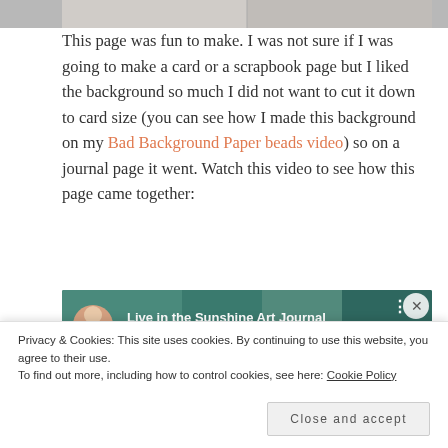[Figure (photo): Partial view of a scrapbook/journal page photo at the top of the document]
This page was fun to make. I was not sure if I was going to make a card or a scrapbook page but I liked the background so much I did not want to cut it down to card size (you can see how I made this background on my Bad Background Paper beads video) so on a journal page it went. Watch this video to see how this page came together:
[Figure (screenshot): Video thumbnail showing 'Live in the Sunshine Art Journal' with a woman's avatar on a teal background]
Privacy & Cookies: This site uses cookies. By continuing to use this website, you agree to their use.
To find out more, including how to control cookies, see here: Cookie Policy
Close and accept